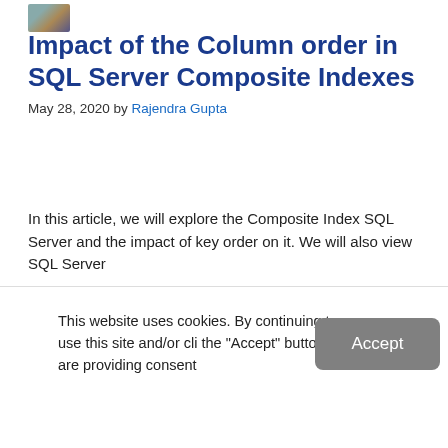[Figure (photo): Small avatar/thumbnail image in top left corner]
Impact of the Column order in SQL Server Composite Indexes
May 28, 2020 by Rajendra Gupta
In this article, we will explore the Composite Index SQL Server and the impact of key order on it. We will also view SQL Server
This website uses cookies. By continuing to use this site and/or cli the "Accept" button you are providing consent
Quest Software and its affiliates do NOT sell the Personal Data you provide to us either when you register on our websites or when you do business with us. For more information about our Privacy Policy and our data protection efforts, please visit GDPR-HQ